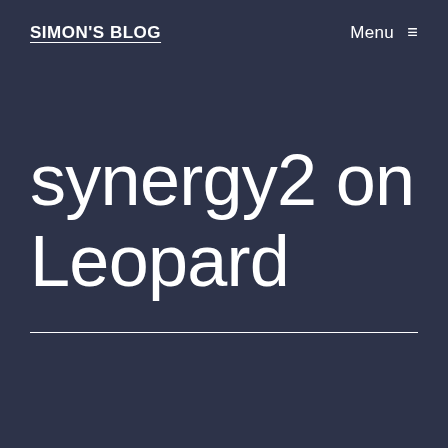SIMON'S BLOG
Menu ≡
synergy2 on Leopard